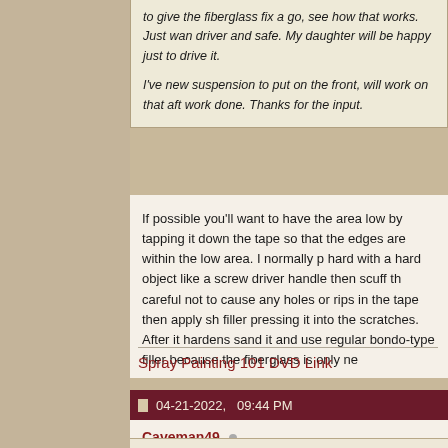to give the fiberglass fix a go, see how that works. Just wan driver and safe. My daughter will be happy just to drive it. I've new suspension to put on the front, will work on that aft work done. Thanks for the input.
If possible you'll want to have the area low by tapping it down the tape so that the edges are within the low area. I normally p hard with a hard object like a screw driver handle then scuff th careful not to cause any holes or rips in the tape then apply sh filler pressing it into the scratches. After it hardens sand it and use regular bondo-type filler because the fiberglass is only ne
Spray Painting 101 DVD Link
04-21-2022, 09:44 PM
Caveman49
Member